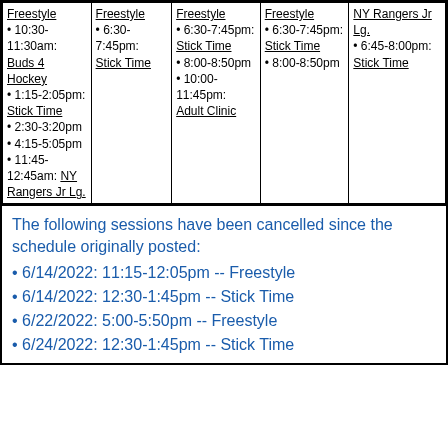| Col1 | Col2 | Col3 | Col4 | Col5 |
| --- | --- | --- | --- | --- |
| Freestyle • 10:30-11:30am: Buds 4 Hockey • 1:15-2:05pm: Stick Time • 2:30-3:20pm • 4:15-5:05pm • 11:45-12:45am: NY Rangers Jr Lg. | Freestyle • 6:30-7:45pm: Stick Time | Freestyle • 6:30-7:45pm: Stick Time • 8:00-8:50pm • 10:00-11:45pm: Adult Clinic | Freestyle • 6:30-7:45pm: Stick Time • 8:00-8:50pm | NY Rangers Jr Lg. • 6:45-8:00pm: Stick Time |
The following sessions have been cancelled since the schedule originally posted:
• 6/14/2022: 11:15-12:05pm -- Freestyle
• 6/14/2022: 12:30-1:45pm -- Stick Time
• 6/22/2022: 5:00-5:50pm -- Freestyle
• 6/24/2022: 12:30-1:45pm -- Stick Time